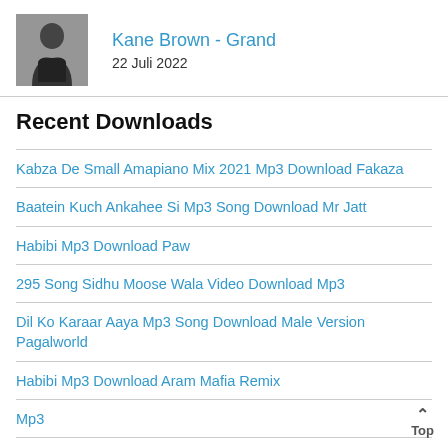[Figure (photo): Small thumbnail photo of a person (Kane Brown) in a black tank top, grayscale/dark toned image]
Kane Brown - Grand
22 Juli 2022
Recent Downloads
Kabza De Small Amapiano Mix 2021 Mp3 Download Fakaza
Baatein Kuch Ankahee Si Mp3 Song Download Mr Jatt
Habibi Mp3 Download Paw
295 Song Sidhu Moose Wala Video Download Mp3
Dil Ko Karaar Aaya Mp3 Song Download Male Version Pagalworld
Habibi Mp3 Download Aram Mafia Remix
Mp3
Dil Ko Karaar Aaya Mp3 Song Download Ringtone Remix
New Amapiano Songs 2022 Mp3 Download
New Sinhala Songs 2021 Mp3 Download Jayasrilanka